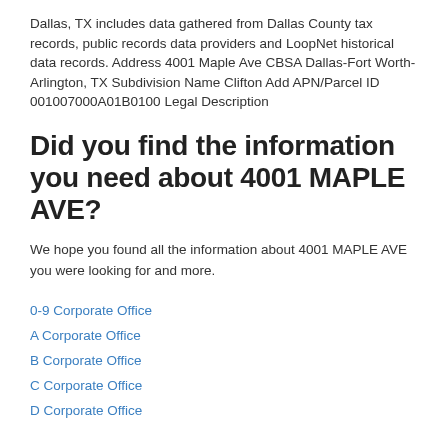Dallas, TX includes data gathered from Dallas County tax records, public records data providers and LoopNet historical data records. Address 4001 Maple Ave CBSA Dallas-Fort Worth-Arlington, TX Subdivision Name Clifton Add APN/Parcel ID 001007000A01B0100 Legal Description
Did you find the information you need about 4001 MAPLE AVE?
We hope you found all the information about 4001 MAPLE AVE you were looking for and more.
0-9 Corporate Office
A Corporate Office
B Corporate Office
C Corporate Office
D Corporate Office